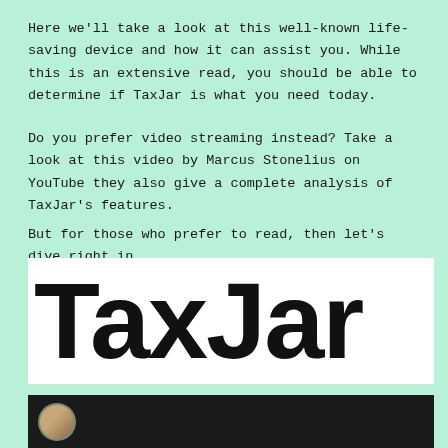Here we'll take a look at this well-known life-saving device and how it can assist you. While this is an extensive read, you should be able to determine if TaxJar is what you need today.
Do you prefer video streaming instead? Take a look at this video by Marcus Stonelius on YouTube they also give a complete analysis of TaxJar's features.
But for those who prefer to read, then let's dive right in.
[Figure (logo): TaxJar logo in large bold black text on white background]
[Figure (screenshot): Video thumbnail with dark background showing a person's avatar/profile photo]